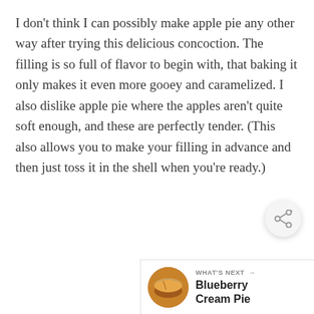I don't think I can possibly make apple pie any other way after trying this delicious concoction. The filling is so full of flavor to begin with, that baking it only makes it even more gooey and caramelized. I also dislike apple pie where the apples aren't quite soft enough, and these are perfectly tender. (This also allows you to make your filling in advance and then just toss it in the shell when you're ready.)
[Figure (other): Share button icon — circular grey button with share/network icon]
[Figure (other): What's Next bar showing a circular pie photo thumbnail and text: WHAT'S NEXT → Blueberry Cream Pie]